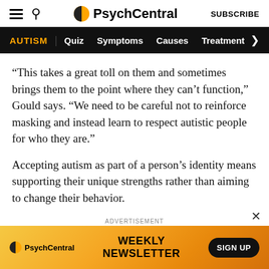PsychCentral | SUBSCRIBE
AUTISM | Quiz  Symptoms  Causes  Treatment >
“This takes a great toll on them and sometimes brings them to the point where they can’t function,” Gould says. “We need to be careful not to reinforce masking and instead learn to respect autistic people for who they are.”
Accepting autism as part of a person’s identity means supporting their unique strengths rather than aiming to change their behavior.
“The identification of autism can be misunderstood
ADVERTISEMENT
[Figure (infographic): PsychCentral advertisement banner with orange/yellow swirl background showing PsychCentral logo, WEEKLY NEWSLETTER text, and SIGN UP button]